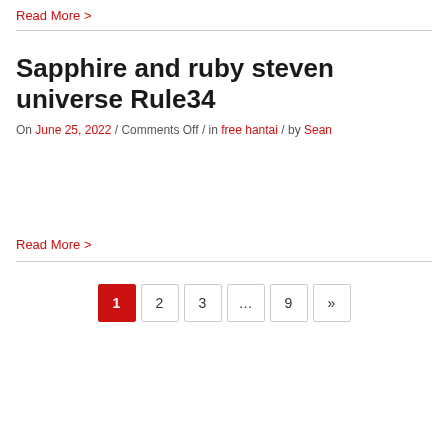Read More >
Sapphire and ruby steven universe Rule34
On June 25, 2022 / Comments Off / in free hantai / by Sean
Read More >
1 2 3 … 9 »